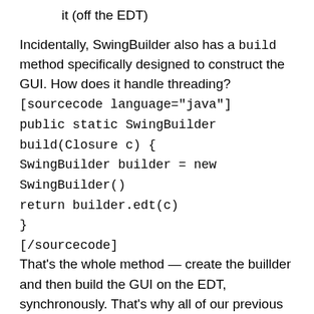it (off the EDT)
Incidentally, SwingBuilder also has a build method specifically designed to construct the GUI. How does it handle threading? [sourcecode language="java"] public static SwingBuilder build(Closure c) { SwingBuilder builder = new SwingBuilder() return builder.edt(c) } [/sourcecode] That's the whole method — create the buillder and then build the GUI on the EDT, synchronously. That's why all of our previous examples of SwingBuilder, which only used the build method on the builder, ran correctly.